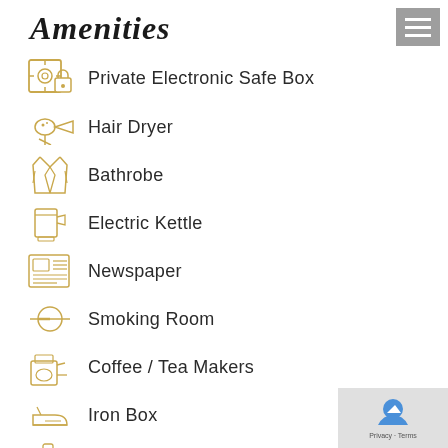Amenities
Private Electronic Safe Box
Hair Dryer
Bathrobe
Electric Kettle
Newspaper
Smoking Room
Coffee / Tea Makers
Iron Box
Complementary Mineral Water
Climate control